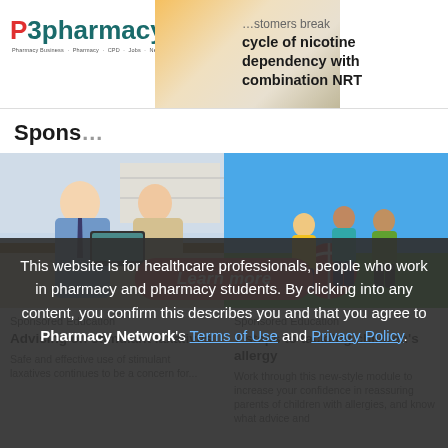P3pharmacy
help customers break the cycle of nicotine dependency with combination NRT
Spons
[Figure (illustration): Red pill-shaped Learn more button with white italic text]
[Figure (photo): Pharmacist handing medication to a female customer at pharmacy counter]
Sponsored Education
Advising on stimulant laxatives
Safe and effective use of stimulant laxatives continues to be a concern for...
[Figure (photo): Children playing with a large red and white ball on a green field]
Sponsored Education
7 steps to tackling children's allergy
Work through this new-style module to increase your confidence in reassuring parents of children with allergies, and know what advice and
This website is for healthcare professionals, people who work in pharmacy and pharmacy students. By clicking into any content, you confirm this describes you and that you agree to Pharmacy Network's Terms of Use and Privacy Policy.